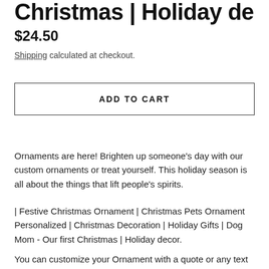Christmas | Holiday decor
$24.50
Shipping calculated at checkout.
ADD TO CART
Ornaments are here! Brighten up someone's day with our custom ornaments or treat yourself. This holiday season is all about the things that lift people's spirits.
| Festive Christmas Ornament | Christmas Pets Ornament Personalized | Christmas Decoration | Holiday Gifts | Dog Mom - Our first Christmas | Holiday decor.
You can customize your Ornament with a quote or any text